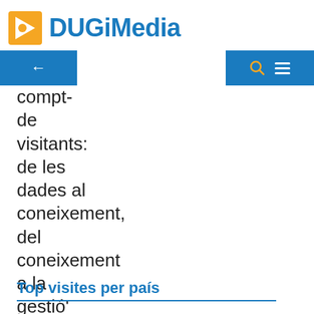DUGiMedia
compt de visitants: de les dades al coneixement, del coneixement a la gestió'
Top visites per país